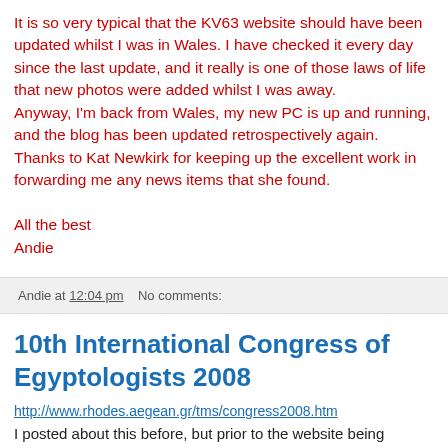It is so very typical that the KV63 website should have been updated whilst I was in Wales. I have checked it every day since the last update, and it really is one of those laws of life that new photos were added whilst I was away. Anyway, I'm back from Wales, my new PC is up and running, and the blog has been updated retrospectively again. Thanks to Kat Newkirk for keeping up the excellent work in forwarding me any news items that she found.

All the best
Andie
Andie at 12:04 pm    No comments:
10th International Congress of Egyptologists 2008
http://www.rhodes.aegean.gr/tms/congress2008.htm
I posted about this before, but prior to the website being